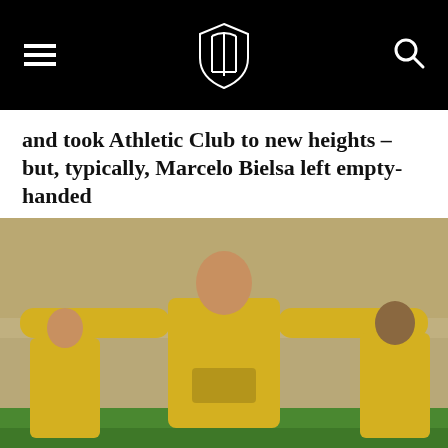[Navigation bar with hamburger menu, site logo, and search icon]
and took Athletic Club to new heights – but, typically, Marcelo Bielsa left empty-handed
[Figure (photo): A footballer in a yellow Villarreal jersey with 'Aeroport Castello' sponsor and 'kelme' brand, arms outstretched in celebration, with two teammates running behind him on a football pitch with a crowd in the stands behind.]